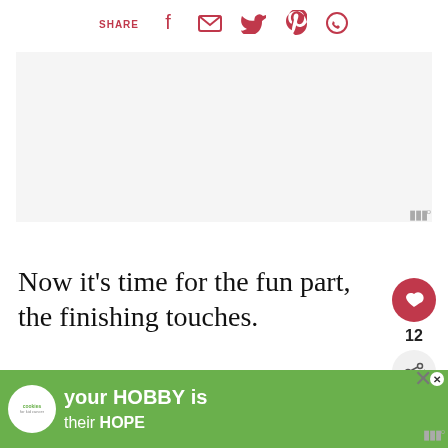SHARE [facebook] [email] [twitter] [pinterest] [whatsapp]
[Figure (other): Light gray advertisement placeholder area]
Now it's time for the fun part, the finishing touches.
WHAT'S NEXT → Upcycled Mail Sorter Famil...
The shelving unit is painted with three coats of
[Figure (other): Advertisement banner: cookies for kid cancer - your HOBBY is their HOPE]